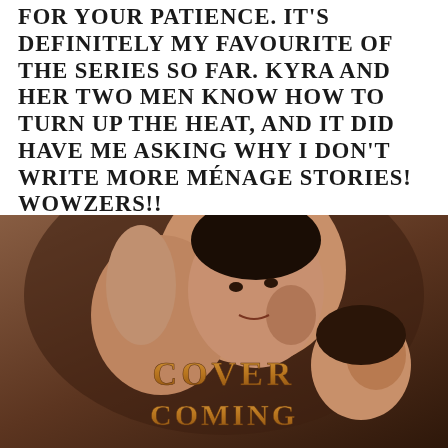FOR YOUR PATIENCE. IT'S DEFINITELY MY FAVOURITE OF THE SERIES SO FAR. KYRA AND HER TWO MEN KNOW HOW TO TURN UP THE HEAT, AND IT DID HAVE ME ASKING WHY I DON'T WRITE MORE MÉNAGE STORIES! WOWZERS!!
[Figure (photo): Book cover placeholder image showing two people in an intimate embrace, with a man's face prominent. Text on the cover reads 'COVER COMING' in stylized bronze/copper lettering.]